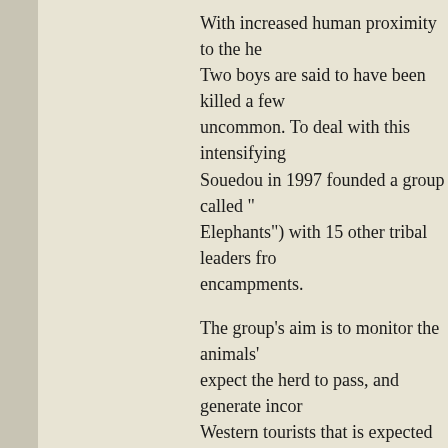With increased human proximity to the herd. Two boys are said to have been killed a few years ago, and crop-raiding is not uncommon. To deal with this intensifying conflict, a Tuareg chief named Souedou in 1997 founded a group called "Gardiens des Elephants" ("Guardians of Elephants") with 15 other tribal leaders from surrounding encampments.
The group's aim is to monitor the animals' movements, warn villagers to expect the herd to pass, and generate income through elephant tourism for Western tourists that is expected to become an important source of revenue. A documentary film "The Elephants of Timbuktu" was screened for American television viewers recently, and Malian travel agencies are beginning to include tours to elephant country in their packages.
Yet what makes the Gourma elephants stand apart from others is that this herd has been better studied and more widely visited than have the people who live. Tuareg folktales, fables, and eyewitness accounts have created a larger-than-life mythos that they, of all African elephants, most deserve.
"Despite its great bulk," wrote al-Jahiz about the elephant, "it is the cleverest, the best imitator, and in this respect surpasses all other animals." Today, a discussion with In-a-Djeli, as the elephant is known in their Tamasheq language, shows that every encounter one underscores respect—as well as a few laughs—with an animal the Tuareg regard as almost a relative.